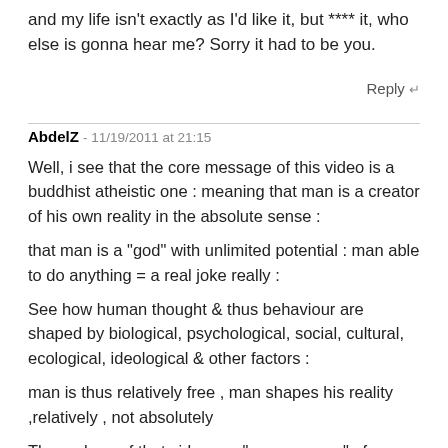and my life isn't exactly as I'd like it, but **** it, who else is gonna hear me? Sorry it had to be you.
Reply
AbdelZ - 11/19/2011 at 21:15
Well, i see that the core message of this video is a buddhist atheistic one : meaning that man is a creator of his own reality in the absolute sense :
that man is a "god" with unlimited potential : man able to do anything = a real joke really :
See how human thought & thus behaviour are shaped by biological, psychological, social, cultural, ecological, ideological & other factors :
man is thus relatively free , man shapes his reality ,relatively , not absolutely
The makers of that video are "messengers " of a